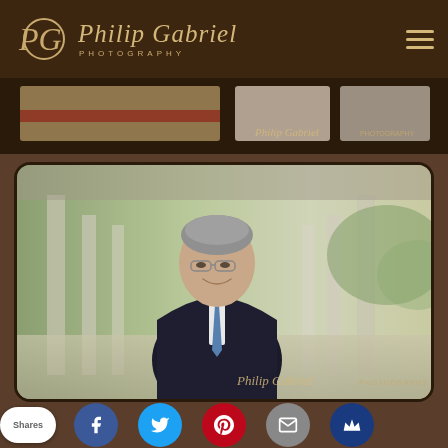Philip Gabriel Photography - logo header with PG monogram and hamburger menu
[Figure (photo): Banner strip showing partial photos of photography work with Philip Gabriel Photography watermark]
[Figure (photo): Professional headshot/portrait of a middle-aged man in dark suit and blue tie, standing in outdoor corridor with columns, blurred background, Philip Gabriel Photography watermark in bottom right]
Shares | Facebook | Twitter | Pinterest | Email | Crown social share buttons